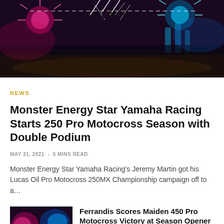[Figure (photo): Supercross/motocross stadium event with fireworks and neon lights at night, featuring an MX logo in center]
NEWS
Monster Energy Star Yamaha Racing Starts 250 Pro Motocross Season with Double Podium
MAY 31, 2021 - 5 MINS READ
Monster Energy Star Yamaha Racing's Jeremy Martin got his Lucas Oil Pro Motocross 250MX Championship campaign off to a…
[Figure (photo): Motocross stadium with colorful pink and blue neon lights at night]
Ferrandis Scores Maiden 450 Pro Motocross Victory at Season Opener